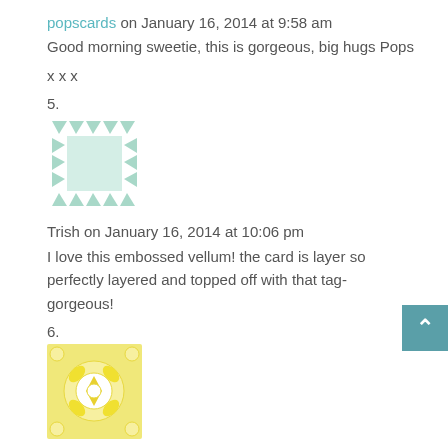popscards on January 16, 2014 at 9:58 am
Good morning sweetie, this is gorgeous, big hugs Pops
x x x
5.
[Figure (illustration): Square avatar with mint/green geometric triangle pattern border]
Trish on January 16, 2014 at 10:06 pm
I love this embossed vellum! the card is layer so perfectly layered and topped off with that tag- gorgeous!
6.
[Figure (illustration): Square avatar with yellow geometric floral/snowflake pattern]
Marianne on January 17, 2014 at 1:24 pm